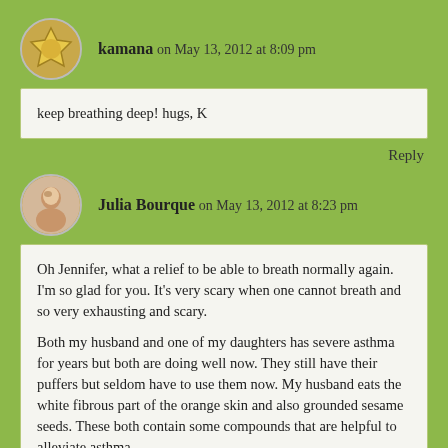kamana on May 13, 2012 at 8:09 pm
keep breathing deep! hugs, K
Reply
Julia Bourque on May 13, 2012 at 8:23 pm
Oh Jennifer, what a relief to be able to breath normally again. I'm so glad for you. It's very scary when one cannot breath and so very exhausting and scary.

Both my husband and one of my daughters has severe asthma for years but both are doing well now. They still have their puffers but seldom have to use them now. My husband eats the white fibrous part of the orange skin and also grounded sesame seeds. These both contain some compounds that are helpful to alleviate asthma.
I had never heard about Albizia complex. Thanks for sharing this